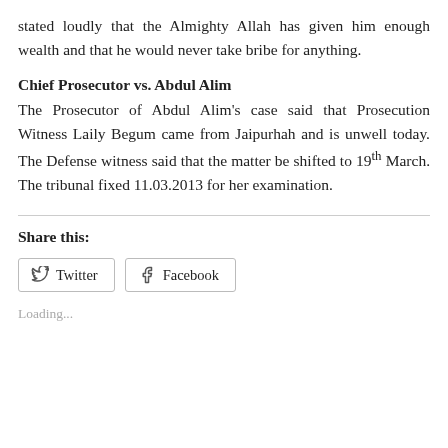stated loudly that the Almighty Allah has given him enough wealth and that he would never take bribe for anything.
Chief Prosecutor vs. Abdul Alim
The Prosecutor of Abdul Alim's case said that Prosecution Witness Laily Begum came from Jaipurhah and is unwell today. The Defense witness said that the matter be shifted to 19th March. The tribunal fixed 11.03.2013 for her examination.
Share this:
Loading...